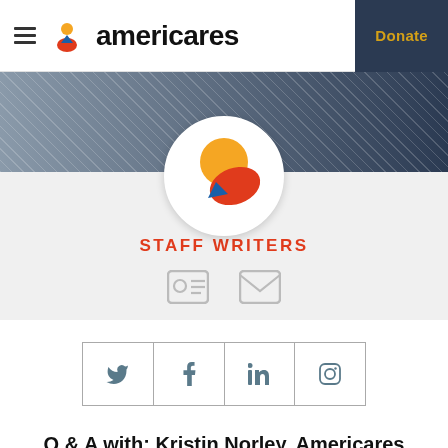americares | Donate
[Figure (logo): Americares logo with hamburger menu and figure icon]
[Figure (illustration): Americares circular logo with yellow circle and red/blue swoosh shapes on dark hero banner]
STAFF WRITERS
[Figure (infographic): Social media icon buttons: profile card icon and email icon]
[Figure (infographic): Social share bar with Twitter, Facebook, LinkedIn, Instagram icons]
Q & A with: Kristin Norley, Americares Director of Supply Chain Management in